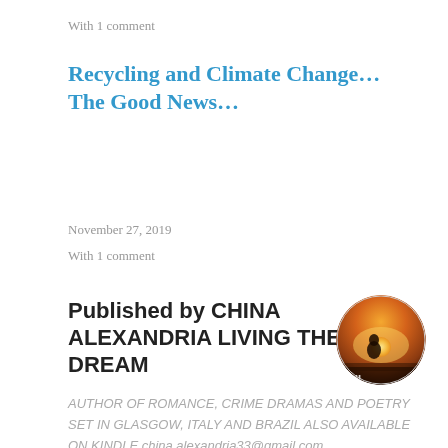With 1 comment
Recycling and Climate Change…The Good News…
November 27, 2019
With 1 comment
Published by CHINA ALEXANDRIA LIVING THE DREAM
[Figure (photo): Circular avatar photo of a person in a field at sunset, with warm orange and golden tones. Partial text 'CHI' visible at bottom.]
AUTHOR OF ROMANCE, CRIME DRAMAS AND POETRY SET IN GLASGOW, ITALY AND BRAZIL ALSO AVAILABLE ON KINDLE china.alexandria33@gmail.com